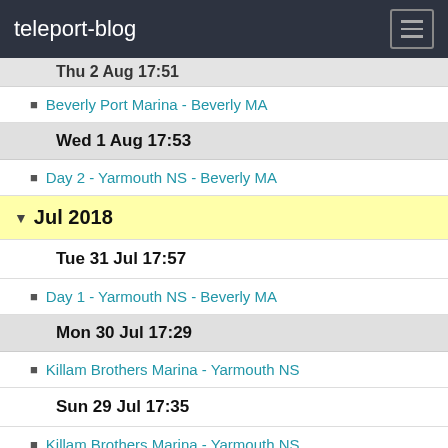teleport-blog
Thu 2 Aug 17:51 (partial, cut off)
Beverly Port Marina - Beverly MA
Wed 1 Aug 17:53
Day 2 - Yarmouth NS - Beverly MA
Jul 2018
Tue 31 Jul 17:57
Day 1 - Yarmouth NS - Beverly MA
Mon 30 Jul 17:29
Killam Brothers Marina - Yarmouth NS
Sun 29 Jul 17:35
Killam Brothers Marina - Yarmouth NS
Sat 28 Jul 17:42
Killam Brothers Marina - Yarmouth NS
Fri 27 Jul 17:36
Killam Brothers Marina - Yarmouth NS
Thu 26 Jul 17:18 (partial, cut off)